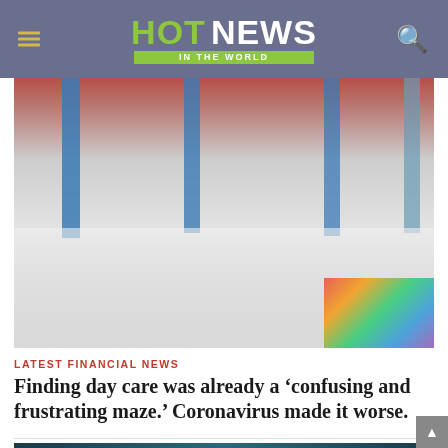HOT NEWS IN THE WORLD
[Figure (photo): Empty daycare or school interior hallway with blue structural columns, shiny tiled floor with reflections, colorful mat in bottom right corner, and shelving/store displays visible at top in red and yellow.]
LATEST FINANCIAL NEWS
Finding day care was already a ‘confusing and frustrating maze.’ Coronavirus made it worse.